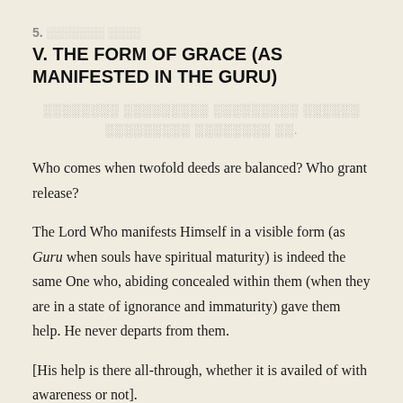5. ░░░░░░░ ░░░░
V. THE FORM OF GRACE (AS MANIFESTED IN THE GURU)
░░░░░░░░ ░░░░░░░░░ ░░░░░░░░░ ░░░░░░
░░░░░░░░░ ░░░░░░░░ ░░.
Who comes when twofold deeds are balanced? Who grant release?
The Lord Who manifests Himself in a visible form (as Guru when souls have spiritual maturity) is indeed the same One who, abiding concealed within them (when they are in a state of ignorance and immaturity) gave them help. He never departs from them.
[His help is there all-through, whether it is availed of with awareness or not].